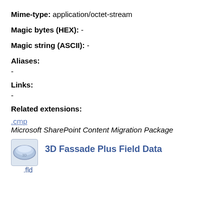Mime-type: application/octet-stream
Magic bytes (HEX): -
Magic string (ASCII): -
Aliases:
-
Links:
-
Related extensions:
.cmp
Microsoft SharePoint Content Migration Package
.fld
3D Fassade Plus Field Data